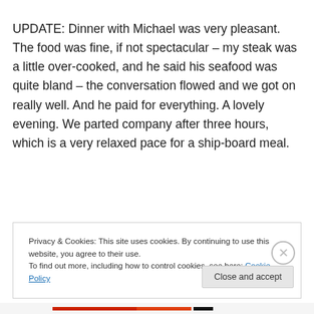UPDATE: Dinner with Michael was very pleasant. The food was fine, if not spectacular – my steak was a little over-cooked, and he said his seafood was quite bland – the conversation flowed and we got on really well. And he paid for everything. A lovely evening. We parted company after three hours, which is a very relaxed pace for a ship-board meal.
Privacy & Cookies: This site uses cookies. By continuing to use this website, you agree to their use.
To find out more, including how to control cookies, see here: Cookie Policy